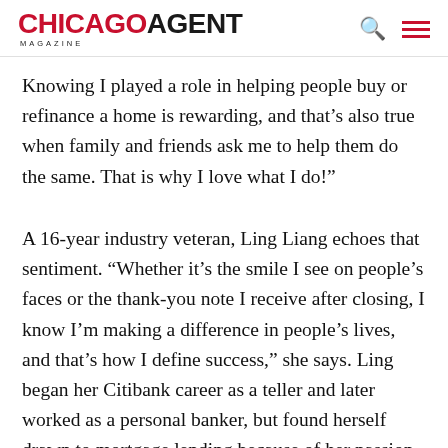CHICAGO AGENT MAGAZINE
Knowing I played a role in helping people buy or refinance a home is rewarding, and that’s also true when family and friends ask me to help them do the same. That is why I love what I do!”
A 16-year industry veteran, Ling Liang echoes that sentiment. “Whether it’s the smile I see on people’s faces or the thank-you note I receive after closing, I know I’m making a difference in people’s lives, and that’s how I define success,” she says. Ling began her Citibank career as a teller and later worked as a personal banker, but found herself drawn to mortgage lending because of her passion to help others. She is particularly skilled in explaining the lending process and